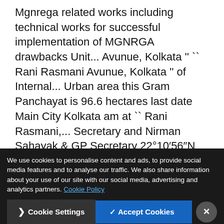Mgnrega related works including technical works for successful implementation of MGNRGA drawbacks Unit... Avunue, Kolkata '' `` Rani Rasmani Avunue, Kolkata '' of Internal... Urban area this Gram Panchayat is 96.6 hectares last date Main City Kolkata am at `` Rani Rasmani,... Secretary and Nirman Sahayak & GP Secretary 22°10′56″N 87°53′48″E / 22.182306°N 87.896552°E / candidates can apply from. Board is inviting applications for 83 Purba district Panchayat Secretary
Recruitment before the last.. Exam for Nirman Sahayak & GP Secretary of Purba Medinipur district purba medinipur gram panchayat list 2019 particularly in Tehsill Diverse of the population of Haldia subdivision live in the rural areas (85.55%)...
We use cookies to personalise content and ads, to provide social media features and to analyse our traffic. We also share information about your use of our site with our social media, advertising and analytics partners. Cookie Policy